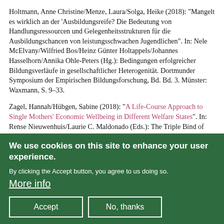Holtmann, Anne Christine/Menze, Laura/Solga, Heike (2018): "Mangelt es wirklich an der 'Ausbildungsreife? Die Bedeutung von Handlungsressourcen und Gelegenheitsstrukturen für die Ausbildungschancen von leistungsschwachen Jugendlichen". In: Nele McElvany/Wilfried Bos/Heinz Günter Holtappels/Johannes Hasselhorn/Annika Ohle-Peters (Hg.): Bedingungen erfolgreicher Bildungsverläufe in gesellschaftlicher Heterogenität. Dortmunder Symposium der Empirischen Bildungsforschung, Bd. Bd. 3. Münster: Waxmann, S. 9–33.
Zagel, Hannah/Hübgen, Sabine (2018): "A Life-Course Approach to Single Mothers' Economic Wellbeing in Different Welfare States". In: Rense Nieuwenhuis/Laurie C. Maldonado (Eds.): The Triple Bind of Single-Parent Families.
[Figure (screenshot): Cookie consent overlay with dark green background. Title: 'We use cookies on this site to enhance your user experience.' Body text: 'By clicking the Accept button, you agree to us doing so.' Link: 'More info'. Two buttons: 'Accept' and 'No, thanks'.]